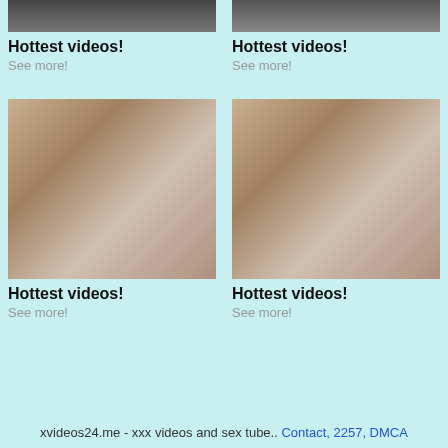[Figure (photo): Cropped adult content image top left]
Hottest videos!
See more!
[Figure (photo): Cropped adult content image top right]
Hottest videos!
See more!
[Figure (photo): Adult content image bottom left]
Hottest videos!
See more!
[Figure (photo): Adult content image bottom right]
Hottest videos!
See more!
xvideos24.me - xxx videos and sex tube.. Contact, 2257, DMCA